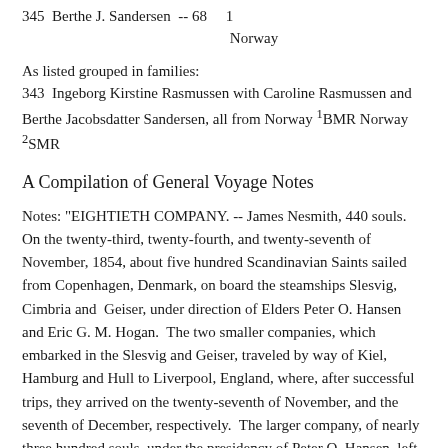345  Berthe J. Sandersen  -- 68  -- 1  Norway
As listed grouped in families:
343  Ingeborg Kirstine Rasmussen with Caroline Rasmussen and Berthe Jacobsdatter Sandersen, all from Norway ¹BMR Norway ²SMR
A Compilation of General Voyage Notes
Notes: "EIGHTIETH COMPANY. -- James Nesmith, 440 souls.  On the twenty-third, twenty-fourth, and twenty-seventh of November, 1854, about five hundred Scandinavian Saints sailed from Copenhagen, Denmark, on board the steamships Slesvig, Cimbria and  Geiser, under direction of Elders Peter O. Hansen and Eric G. M. Hogan.  The two smaller companies, which embarked in the Slesvig and Geiser, traveled by way of Kiel, Hamburg and Hull to Liverpool, England, where, after successful trips, they arrived on the twenty-seventh of November, and the seventh of December, respectively.  The larger company, of nearly three hundred souls, under the presidency of Peter O. Hansen, left Copenhagen, in the Cimbria,